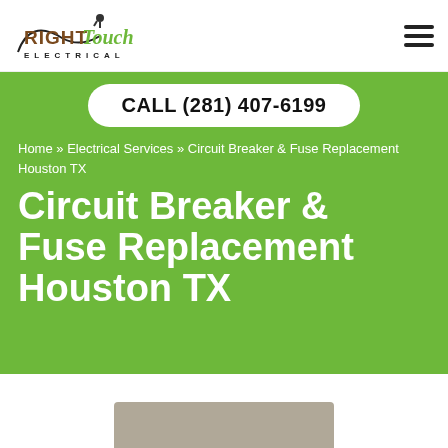[Figure (logo): Right Touch Electrical logo — script/cursive lettering with an electrical plug icon]
CALL (281) 407-6199
Home » Electrical Services » Circuit Breaker & Fuse Replacement Houston TX
Circuit Breaker & Fuse Replacement Houston TX
[Figure (photo): Partial view of an electrical panel or circuit breaker box at bottom of page]